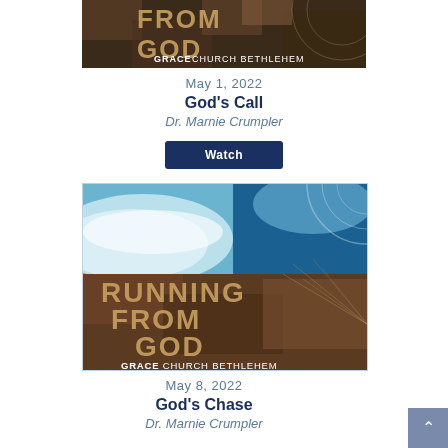[Figure (illustration): Partial view of 'Running From God - Grace Church Bethlehem' sermon series graphic, cropped at top, showing rocky/dark textured background with series title text and church name]
May 1, 2022
God's Call
Dr. Marnie Crumpler
Watch
[Figure (illustration): Running From God - Grace Church Bethlehem sermon series graphic showing ocean waves aerial view with large text 'RUNNING FROM GOD' and 'GRACE CHURCH BETHLEHEM' below]
May 8, 2022
God's Chase
Dr. Marnie Crumpler